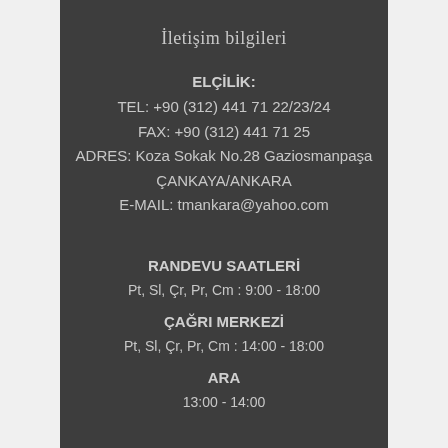İletişim bilgileri
ELÇİLİK:
TEL: +90 (312) 441 71 22/23/24
FAX: +90 (312) 441 71 25
ADRES: Koza Sokak No.28 Gaziosmanpaşa ÇANKAYA/ANKARA
E-MAIL: tmankara@yahoo.com
RANDEVU SAATLERİ
Pt, Sl, Çr, Pr, Cm : 9:00 - 18:00
ÇAĞRI MERKEZİ
Pt, Sl, Çr, Pr, Cm : 14:00 - 18:00
ARA
13:00 - 14:00